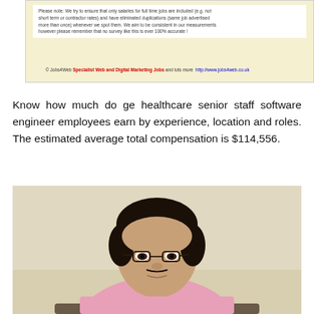[Figure (screenshot): Partial screenshot of a Jobs4Web webpage showing text about salary data accuracy and a footer bar with copyright and links.]
Know how much do ge healthcare senior staff software engineer employees earn by experience, location and roles. The estimated average total compensation is $114,556.
[Figure (photo): Portrait photo of a middle-aged man wearing glasses and a pink shirt, seated, with a light-colored background.]